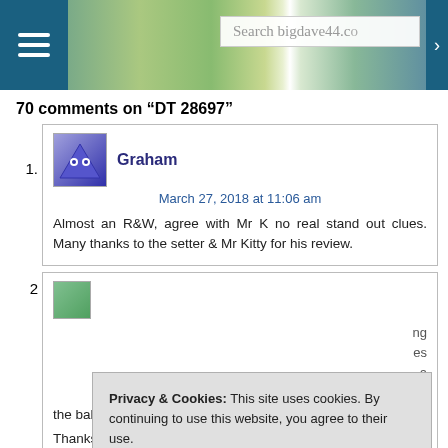Search bigdave44.co [header banner with hamburger menu and search box]
70 comments on “DT 28697”
1. Graham — March 27, 2018 at 11:06 am — Almost an R&W, agree with Mr K no real stand out clues. Many thanks to the setter & Mr Kitty for his review.
2. [partial, obscured by cookie banner] ...ng ...es a ...et the ball rolling. Thanks to our Tuesday setter and Mr K.
Privacy & Cookies: This site uses cookies. By continuing to use this website, you agree to their use. To find out more, including how to control cookies, see here: Cookie Policy
Close and accept